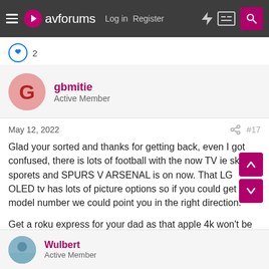avforums — Log in   Register
👍 2
gbmitie
Active Member
May 12, 2022   #17
Glad your sorted and thanks for getting back, even I got confused, there is lots of football with the now TV ie sky sporets and SPURS V ARSENAL is on now. That LG OLED tv has lots of picture options so if you could get the model number we could point you in the right direction.

Get a roku express for your dad as that apple 4k won't be cheap. Its the same principle
Wulbert
Active Member